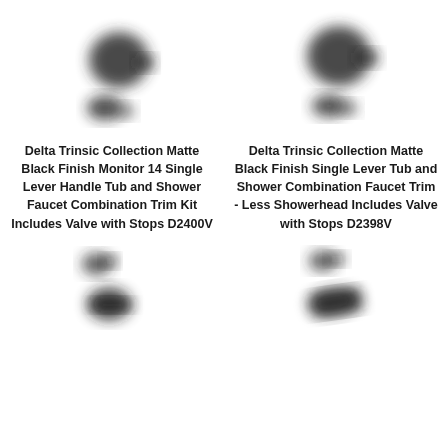[Figure (photo): Blurred photo of Delta Trinsic shower faucet components - top view showing knob and smaller part, left product]
Delta Trinsic Collection Matte Black Finish Monitor 14 Single Lever Handle Tub and Shower Faucet Combination Trim Kit Includes Valve with Stops D2400V
[Figure (photo): Blurred photo of Delta Trinsic shower faucet components - bottom view showing elongated piece and smaller part, left product]
[Figure (photo): Blurred photo of Delta Trinsic shower faucet components - top view showing knob and smaller part, right product]
Delta Trinsic Collection Matte Black Finish Single Lever Tub and Shower Combination Faucet Trim - Less Showerhead Includes Valve with Stops D2398V
[Figure (photo): Blurred photo of Delta Trinsic shower faucet components - bottom view showing elongated piece and smaller part, right product]